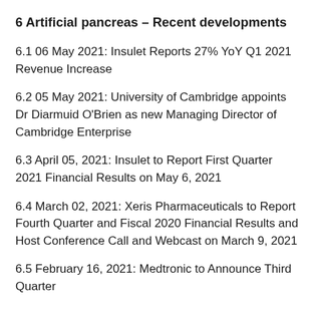6 Artificial pancreas – Recent developments
6.1 06 May 2021: Insulet Reports 27% YoY Q1 2021 Revenue Increase
6.2 05 May 2021: University of Cambridge appoints Dr Diarmuid O'Brien as new Managing Director of Cambridge Enterprise
6.3 April 05, 2021: Insulet to Report First Quarter 2021 Financial Results on May 6, 2021
6.4 March 02, 2021: Xeris Pharmaceuticals to Report Fourth Quarter and Fiscal 2020 Financial Results and Host Conference Call and Webcast on March 9, 2021
6.5 February 16, 2021: Medtronic to Announce Third Quarter